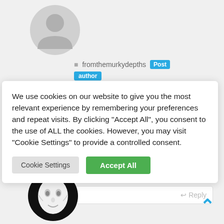[Figure (illustration): Default gray user avatar circle icon at top left]
fromthemurkydepths  Post author
We use cookies on our website to give you the most relevant experience by remembering your preferences and repeat visits. By clicking "Accept All", you consent to the use of ALL the cookies. However, you may visit "Cookie Settings" to provide a controlled consent.
Cookie Settings   Accept All
Reply
[Figure (photo): User avatar showing a white theatrical mask on black background]